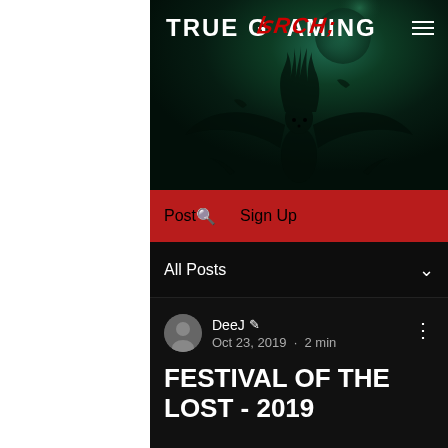[Figure (screenshot): True Gaming website screenshot showing hero image with dark teal atmospheric background and creature silhouette, logo bar, red navigation bar, posts filter, and blog post card]
TRUE GAMING
Post · Search · Sign Up
All Posts
DeeJ · Oct 23, 2019 · 2 min
FESTIVAL OF THE LOST - 2019